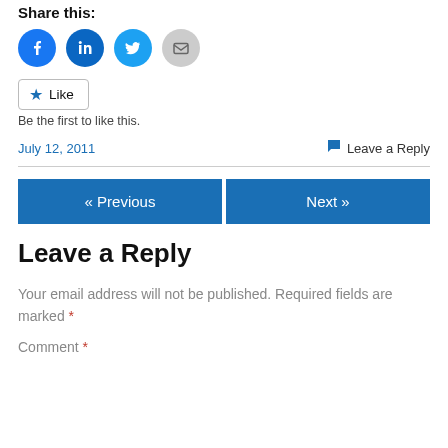Share this:
[Figure (other): Social share icons: Facebook (blue circle), LinkedIn (blue circle), Twitter (blue circle), Email (grey circle)]
Like Be the first to like this.
July 12, 2011   Leave a Reply
« Previous   Next »
Leave a Reply
Your email address will not be published. Required fields are marked *
Comment *